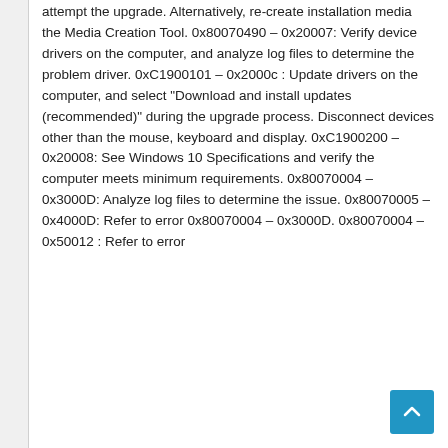attempt the upgrade. Alternatively, re-create installation media the Media Creation Tool. 0x80070490 – 0x20007: Verify device drivers on the computer, and analyze log files to determine the problem driver. 0xC1900101 – 0x2000c : Update drivers on the computer, and select "Download and install updates (recommended)" during the upgrade process. Disconnect devices other than the mouse, keyboard and display. 0xC1900200 – 0x20008: See Windows 10 Specifications and verify the computer meets minimum requirements. 0x80070004 – 0x3000D: Analyze log files to determine the issue. 0x80070005 – 0x4000D: Refer to error 0x80070004 – 0x3000D. 0x80070004 – 0x50012 : Refer to error